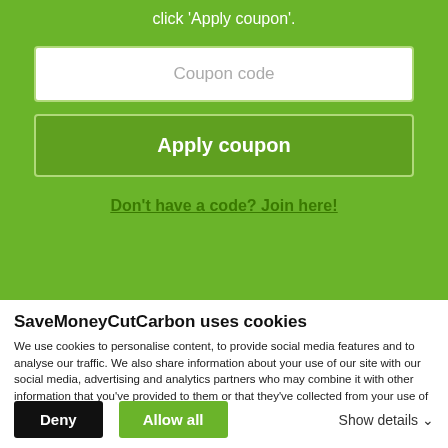click 'Apply coupon'.
[Figure (screenshot): Coupon code input field (white box with placeholder text 'Coupon code')]
[Figure (screenshot): Apply coupon button (dark green button with bold white text 'Apply coupon')]
Don't have a code? Join here!
SaveMoneyCutCarbon uses cookies
We use cookies to personalise content, to provide social media features and to analyse our traffic. We also share information about your use of our site with our social media, advertising and analytics partners who may combine it with other information that you've provided to them or that they've collected from your use of their services.
Deny
Allow all
Show details